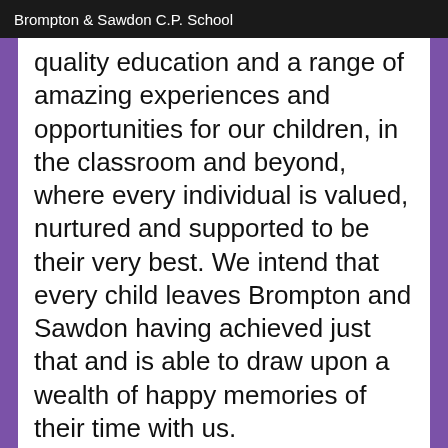Brompton & Sawdon C.P. School
quality education and a range of amazing experiences and opportunities for our children, in the classroom and beyond, where every individual is valued, nurtured and supported to be their very best. We intend that every child leaves Brompton and Sawdon having achieved just that and is able to draw upon a wealth of happy memories of their time with us.
Everything we do is underpinned by putting the needs of the children first and our school pillars of Family, Nature, Respect, Rainbow and